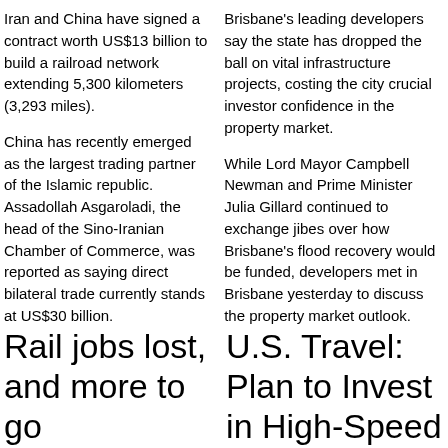Iran and China have signed a contract worth US$13 billion to build a railroad network extending 5,300 kilometers (3,293 miles).
China has recently emerged as the largest trading partner of the Islamic republic. Assadollah Asgaroladi, the head of the Sino-Iranian Chamber of Commerce, was reported as saying direct bilateral trade currently stands at US$30 billion.
Brisbane's leading developers say the state has dropped the ball on vital infrastructure projects, costing the city crucial investor confidence in the property market.
While Lord Mayor Campbell Newman and Prime Minister Julia Gillard continued to exchange jibes over how Brisbane's flood recovery would be funded, developers met in Brisbane yesterday to discuss the property market outlook.
Rail jobs lost, and more to go
U.S. Travel: Plan to Invest in High-Speed